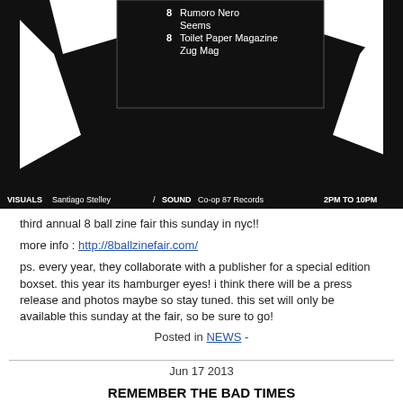[Figure (photo): Black and white poster for 8 Ball Zine Fair showing geometric triangular shapes on black background with text listing exhibitors including Rumore Nero, Seems, Toilet Paper Magazine, Zug Mag, and details: VISUALS Santiago Stelley / SOUND Co-op 87 Records, 2PM TO 10PM]
third annual 8 ball zine fair this sunday in nyc!!
more info : http://8ballzinefair.com/
ps. every year, they collaborate with a publisher for a special edition boxset. this year its hamburger eyes! i think there will be a press release and photos maybe so stay tuned. this set will only be available this sunday at the fair, so be sure to go!
Posted in NEWS -
Jun 17 2013
REMEMBER THE BAD TIMES